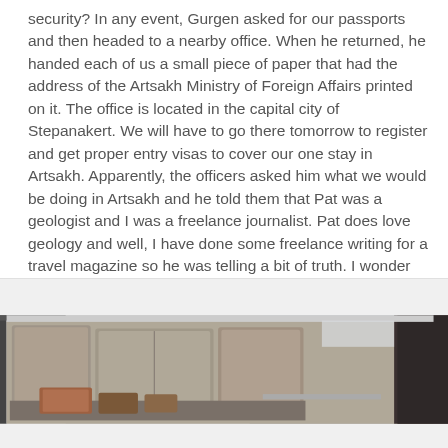security?  In any event, Gurgen asked for our passports and then headed to a nearby office.  When he returned, he handed each of us a small piece of paper that had the address of the Artsakh Ministry of Foreign Affairs printed on it.  The office is located in the capital city of Stepanakert.  We will have to go there tomorrow to register and get proper entry visas to cover our one stay in Artsakh.  Apparently, the officers asked him what we would be doing in Artsakh and he told them that Pat was a geologist and I was a freelance journalist.  Pat does love geology and well, I have done some freelance writing for a travel magazine so he was telling a bit of truth.  I wonder what they would have said had he simply told them the absolute truth, that we were simply tourists?
[Figure (photo): Photograph showing the interior of a vehicle with the rear door open, revealing gray cloth seats and luggage/bags on the floor. A person in a dark jacket is partially visible on the right side. The background shows an outdoor street scene.]